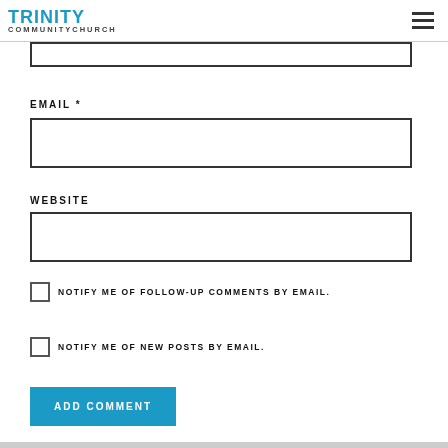TRINITY COMMUNITY CHURCH
EMAIL *
WEBSITE
NOTIFY ME OF FOLLOW-UP COMMENTS BY EMAIL.
NOTIFY ME OF NEW POSTS BY EMAIL.
ADD COMMENT